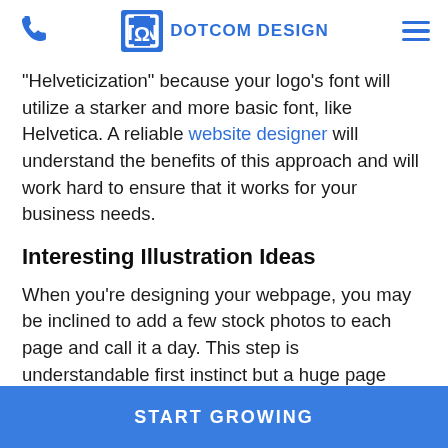DOTCOM DESIGN
"Helveticization" because your logo's font will utilize a starker and more basic font, like Helvetica. A reliable website designer will understand the benefits of this approach and will work hard to ensure that it works for your business needs.
Interesting Illustration Ideas
When you're designing your webpage, you may be inclined to add a few stock photos to each page and call it a day. This step is understandable first instinct but a huge page mistake... [continues] ...onic [continues]
START GROWING